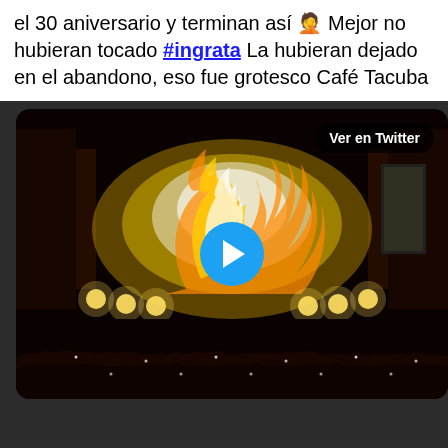el 30 aniversario y terminan así 🤦 Mejor no hubieran tocado #ingrata La hubieran dejado en el abandono, eso fue grotesco Café Tacuba
[Figure (screenshot): A video thumbnail showing a concert stage with bright pyrotechnic explosions and golden stage lights, with a large crowd in the foreground. A blue circular play button is overlaid in the center. A 'Ver en Twitter' badge appears in the top-right corner.]